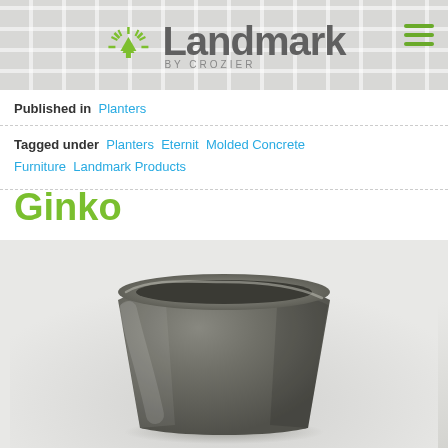Landmark by CROZIER
Published in  Planters
Tagged under  Planters  Eternit  Molded Concrete  Furniture  Landmark Products
Ginko
[Figure (photo): A dark grey conical/tapered molded concrete planter with a slightly irregular top rim, photographed on a light grey background with soft shadow.]